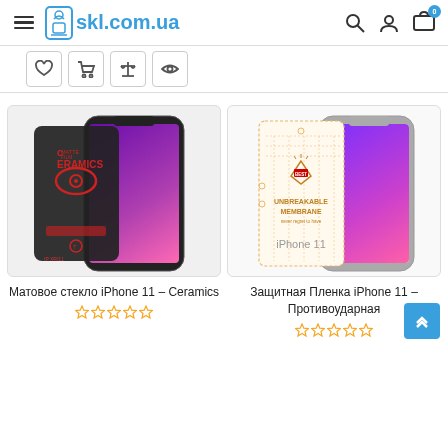skl.com.ua — navigation header with logo, search, account and cart icons
[Figure (screenshot): Product listing page from skl.com.ua showing two iPhone 11 screen protector products: 'Матовое стекло iPhone 11 – Ceramics' and 'Защитная Пленка iPhone 11 – Противоударная', each with product image and star rating]
Матовое стекло iPhone 11 – Ceramics
Защитная Пленка iPhone 11 – Противоударная